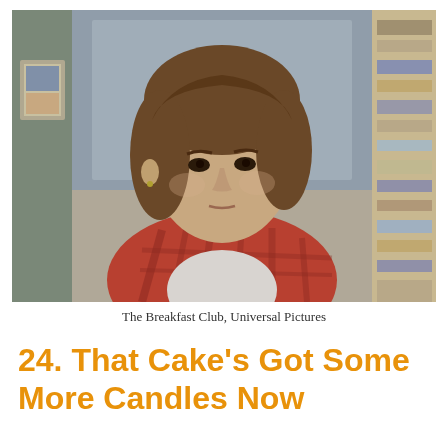[Figure (photo): A young man with medium-length brown hair wearing a red plaid flannel shirt over a white t-shirt, looking directly at the camera. The background appears to be a school library setting. Scene from The Breakfast Club.]
The Breakfast Club, Universal Pictures
24. That Cake's Got Some More Candles Now